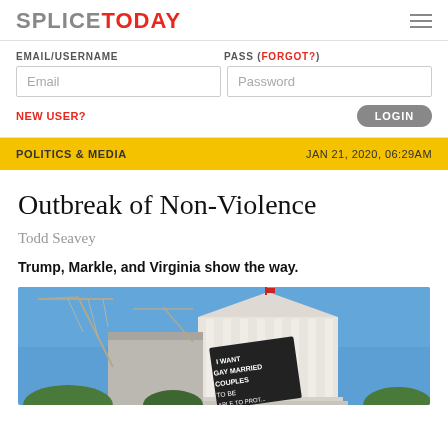SPLICE TODAY
EMAIL/USERNAME | PASS (FORGOT?) | Email | Password | NEW USER? | LOGIN
POLITICS & MEDIA | JAN 21, 2020, 06:29AM
Outbreak of Non-Violence
Todd Seavey
Trump, Markle, and Virginia show the way.
[Figure (photo): Photo of a neoclassical government building (Virginia State Capitol) with a protest sign reading 'I WANT GAY MARRIED COUPLES TO BE ABLE TO PROTECT...' and construction cranes in the background under a blue sky]